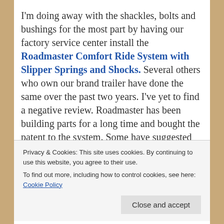I'm doing away with the shackles, bolts and bushings for the most part by having our factory service center install the Roadmaster Comfort Ride System with Slipper Springs and Shocks. Several others who own our brand trailer have done the same over the past two years. I've yet to find a negative review. Roadmaster has been building parts for a long time and bought the patent to the system. Some have suggested money would be better spent
Privacy & Cookies: This site uses cookies. By continuing to use this website, you agree to their use.
To find out more, including how to control cookies, see here: Cookie Policy
Merryde Independent suspension which add a